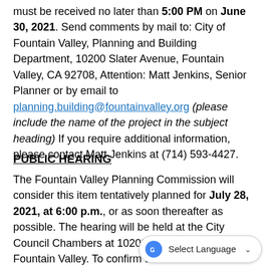must be received no later than 5:00 PM on June 30, 2021. Send comments by mail to: City of Fountain Valley, Planning and Building Department, 10200 Slater Avenue, Fountain Valley, CA 92708, Attention: Matt Jenkins, Senior Planner or by email to planning.building@fountainvalley.org (please include the name of the project in the subject heading) If you require additional information, please contact Matt Jenkins at (714) 593-4427.
PUBLIC HEARING
The Fountain Valley Planning Commission will consider this item tentatively planned for July 28, 2021, at 6:00 p.m., or as soon thereafter as possible. The hearing will be held at the City Council Chambers at 10200 Slater Avenue, Fountain Valley. To confirm the date and time of the meetings and for additional information concerning the proposed project, please check the City's website.